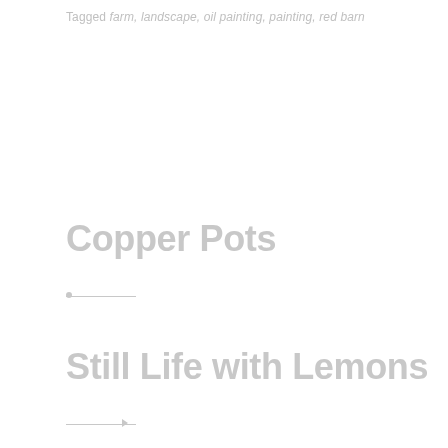Tagged farm, landscape, oil painting, painting, red barn
Copper Pots
Still Life with Lemons